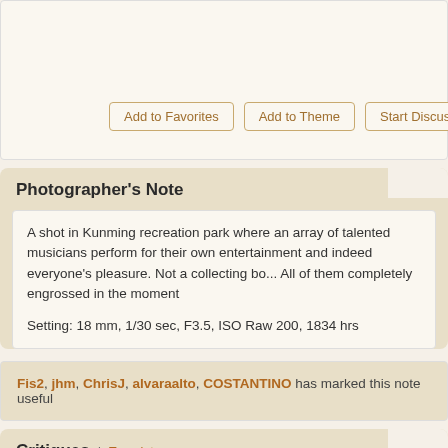Add to Favorites | Add to Theme | Start Discuss...
Photographer's Note
A shot in Kunming recreation park where an array of talented musicians perform for their own entertainment and indeed everyone's pleasure. Not a collecting bo... All of them completely engrossed in the moment

Setting: 18 mm, 1/30 sec, F3.5, ISO Raw 200, 1834 hrs
Fis2, jhm, ChrisJ, alvaraalto, COSTANTINO has marked this note useful
Critiques | Translate